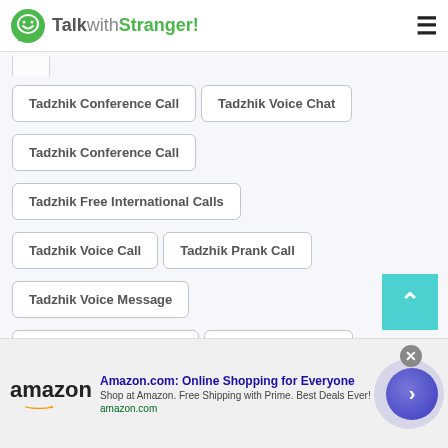TalkwithStranger!
Tadzhik Conference Call
Tadzhik Voice Chat
Tadzhik Conference Call
Tadzhik Free International Calls
Tadzhik Voice Call
Tadzhik Prank Call
Tadzhik Voice Message
Tadzhik Anonymous Call
Tadzhik Prank Call
Tadzhik Random Numbers to Call
Tadzhik ICQ Chat
[Figure (screenshot): Amazon advertisement banner: Amazon.com Online Shopping for Everyone. Shop at Amazon. Free Shipping with Prime. Best Deals Ever! amazon.com]